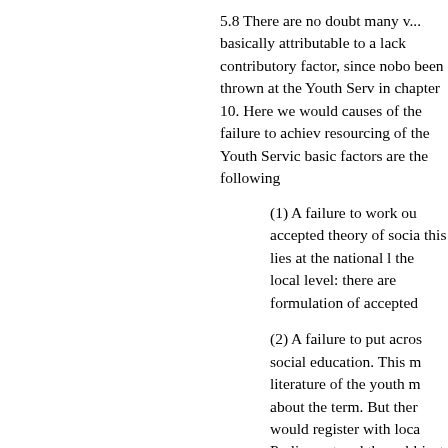5.8 There are no doubt many v... basically attributable to a lack... contributory factor, since nobo... been thrown at the Youth Serv... in chapter 10. Here we would ... causes of the failure to achiev... resourcing of the Youth Servic... basic factors are the following
(1) A failure to work ou... accepted theory of socia... this lies at the national l... the local level: there are... formulation of accepted
(2) A failure to put acros... social education. This m... literature of the youth m... about the term. But ther... would register with loca... Parliament and the publ... just does not know wha
(3) A patchy and incomp...